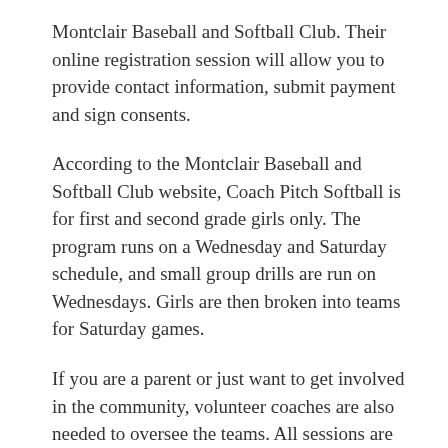Montclair Baseball and Softball Club. Their online registration session will allow you to provide contact information, submit payment and sign consents.
According to the Montclair Baseball and Softball Club website, Coach Pitch Softball is for first and second grade girls only. The program runs on a Wednesday and Saturday schedule, and small group drills are run on Wednesdays. Girls are then broken into teams for Saturday games.
If you are a parent or just want to get involved in the community, volunteer coaches are also needed to oversee the teams. All sessions are held at the Mount Hebron Middle School Field. The program will begin in April and end early to mid June.
Coach Pitch Softball is also for first and second grade boys only. The cost of this program is $130 per player, and meets on weekdays from 4:30 p.m. to 6 p.m. You are also able to select your preferred day while openings last. Game